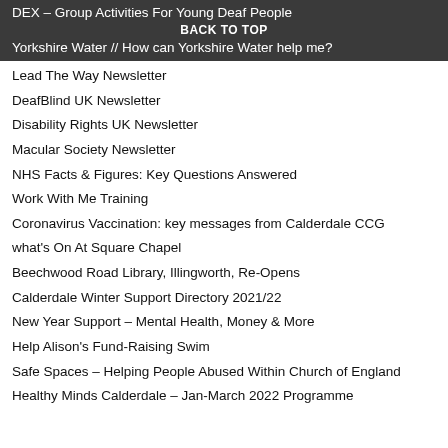DEX – Group Activities For Young Deaf People
BACK TO TOP
Yorkshire Water // How can Yorkshire Water help me?
Lead The Way Newsletter
DeafBlind UK Newsletter
Disability Rights UK Newsletter
Macular Society Newsletter
NHS Facts & Figures: Key Questions Answered
Work With Me Training
Coronavirus Vaccination: key messages from Calderdale CCG
what's On At Square Chapel
Beechwood Road Library, Illingworth, Re-Opens
Calderdale Winter Support Directory 2021/22
New Year Support – Mental Health, Money & More
Help Alison's Fund-Raising Swim
Safe Spaces – Helping People Abused Within Church of England
Healthy Minds Calderdale – Jan-March 2022 Programme